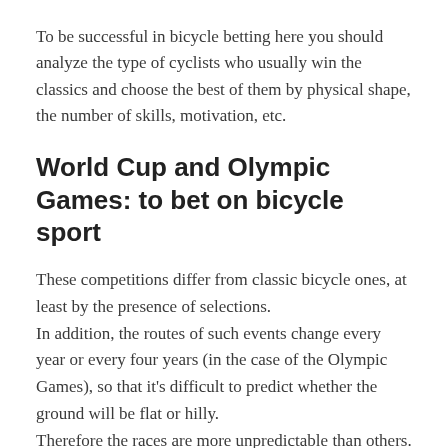To be successful in bicycle betting here you should analyze the type of cyclists who usually win the classics and choose the best of them by physical shape, the number of skills, motivation, etc.
World Cup and Olympic Games: to bet on bicycle sport
These competitions differ from classic bicycle ones, at least by the presence of selections.
In addition, the routes of such events change every year or every four years (in the case of the Olympic Games), so that it's difficult to predict whether the ground will be flat or hilly.
Therefore the races are more unpredictable than others. Almost always many surprises occur.
In these competitions there are also time trials,